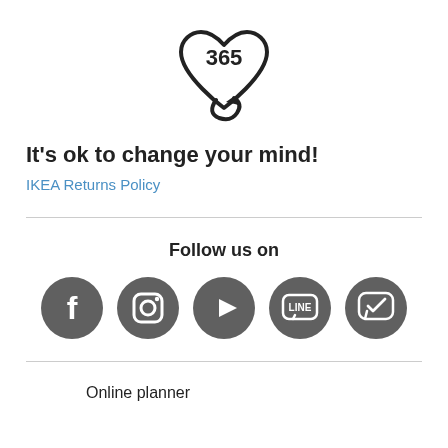[Figure (illustration): Heart shape icon with '365' inside and a circular arrow at the bottom, representing a 365-day return policy]
It's ok to change your mind!
IKEA Returns Policy
[Figure (infographic): Row of 5 social media icons: Facebook, Instagram, YouTube, LINE, and a chat/message app, all dark grey circles with white icons]
Follow us on
Online planner